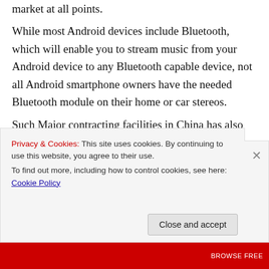market at all points. While most Android devices include Bluetooth, which will enable you to stream music from your Android device to any Bluetooth capable device, not all Android smartphone owners have the needed Bluetooth module on their home or car stereos. Such Major contracting facilities in China has also supported many sub- contractors , who build-up to hundreds of companies whom offered sub
Privacy & Cookies: This site uses cookies. By continuing to use this website, you agree to their use.
To find out more, including how to control cookies, see here: Cookie Policy
Close and accept